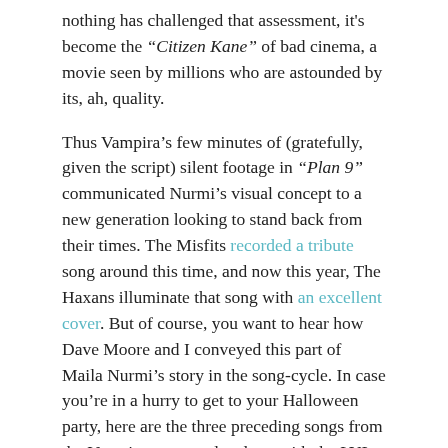nothing has challenged that assessment, it's become the "Citizen Kane" of bad cinema, a movie seen by millions who are astounded by its, ah, quality.
Thus Vampira's few minutes of (gratefully, given the script) silent footage in "Plan 9" communicated Nurmi's visual concept to a new generation looking to stand back from their times. The Misfits recorded a tribute song around this time, and now this year, The Haxans illuminate that song with an excellent cover. But of course, you want to hear how Dave Moore and I conveyed this part of Maila Nurmi's story in the song-cycle. In case you're in a hurry to get to your Halloween party, here are the three preceding songs from the Vampira song-cycle, along with the LYL Band telling the story of how Vampira would have been forgotten "If Not For Ed."